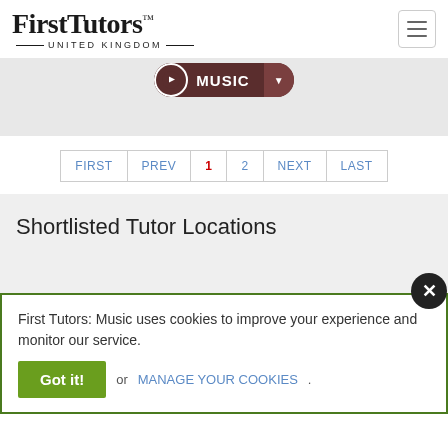First Tutors™ UNITED KINGDOM
MUSIC
FIRST | PREV | 1 | 2 | NEXT | LAST
Shortlisted Tutor Locations
First Tutors: Music uses cookies to improve your experience and monitor our service.
Got it! or MANAGE YOUR COOKIES.